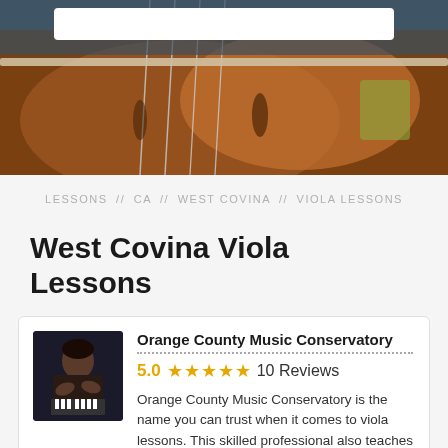[Figure (photo): Close-up photo of a viola/cello instrument showing strings, bridge, and body in warm brown tones]
LESSONS // CA // WEST COVINA // VIOLA LESSONS
West Covina Viola Lessons
[Figure (photo): Young woman playing piano, dark background]
Orange County Music Conservatory
5.0 ★★★★★  10 Reviews
Orange County Music Conservatory is the name you can trust when it comes to viola lessons. This skilled professional also teaches